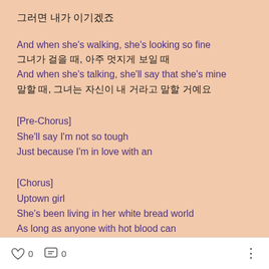그러면 내가 이기겠죠
And when she's walking, she's looking so fine
그녀가 걸을 때, 아주 멋지게 보일 때
And when she's talking, she'll say that she's mine
말할 때, 그녀는 자신이 내 거라고 말할 거예요
[Pre-Chorus]
She'll say I'm not so tough
Just because I'm in love with an
[Chorus]
Uptown girl
She's been living in her white bread world
As long as anyone with hot blood can
And now she's looking for a downtown man
That's what I am
0  0  ···